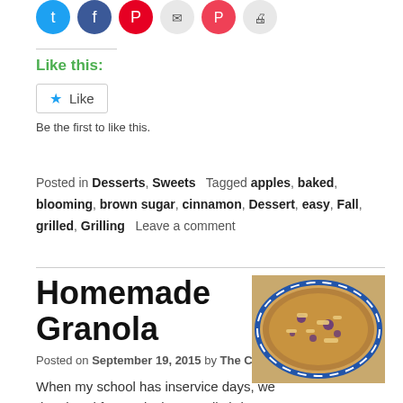[Figure (other): Row of social media sharing icon buttons (Twitter, Facebook, Pinterest, email, Pocket, print)]
Like this:
Like
Be the first to like this.
Posted in Desserts, Sweets   Tagged apples, baked, blooming, brown sugar, cinnamon, Dessert, easy, Fall, grilled, Grilling   Leave a comment
Homemade Granola
Posted on September 19, 2015 by The Cocina Monologues
[Figure (photo): Photo of homemade granola in a blue and white ceramic bowl]
When my school has inservice days, we do a breakfast potluck. I usually bring fruit, but I knew others would bring fruit, and I wanted to do something different for a change it